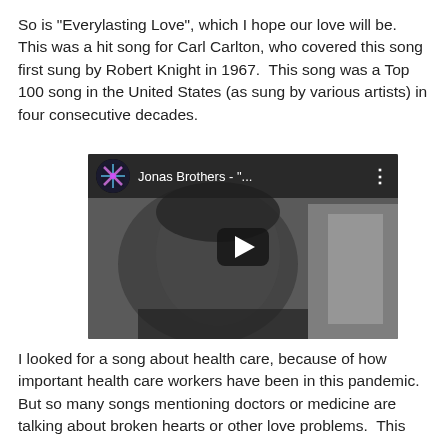So is "Everylasting Love", which I hope our love will be. This was a hit song for Carl Carlton, who covered this song first sung by Robert Knight in 1967.  This song was a Top 100 song in the United States (as sung by various artists) in four consecutive decades.
[Figure (screenshot): YouTube video thumbnail for Jonas Brothers - Everylasting Love (or similar), showing a black and white image of a person in a car, with a play button overlay and top bar showing channel icon 'joud01' and title 'Jonas Brothers - "...']
I looked for a song about health care, because of how important health care workers have been in this pandemic. But so many songs mentioning doctors or medicine are talking about broken hearts or other love problems.  This